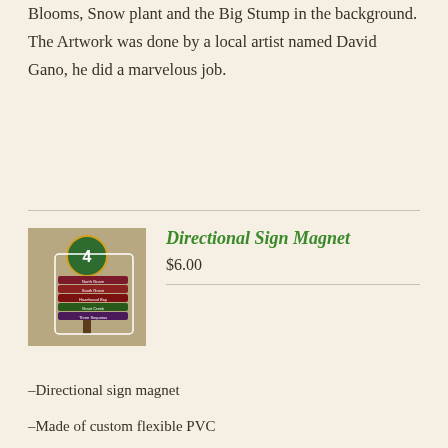Blooms, Snow plant and the Big Stump in the background. The Artwork was done by a local artist named David Gano, he did a marvelous job.
[Figure (photo): A directional sign magnet shaped like a tree with a green circular top labeled '4' and multiple colored arrow signs pointing in different directions with location names.]
Directional Sign Magnet
$6.00
-Directional sign magnet
-Made of custom flexible PVC